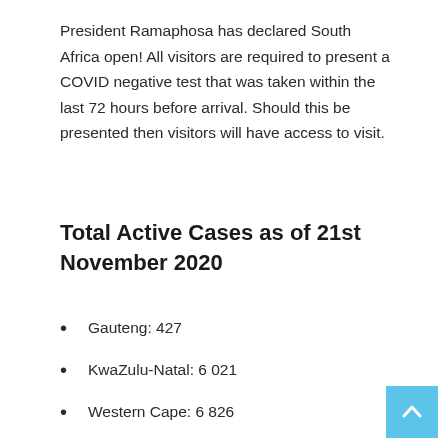President Ramaphosa has declared South Africa open! All visitors are required to present a COVID negative test that was taken within the last 72 hours before arrival. Should this be presented then visitors will have access to visit.
Total Active Cases as of 21st November 2020
Gauteng: 427
KwaZulu-Natal: 6 021
Western Cape: 6 826
Eastern Cape: 10 412